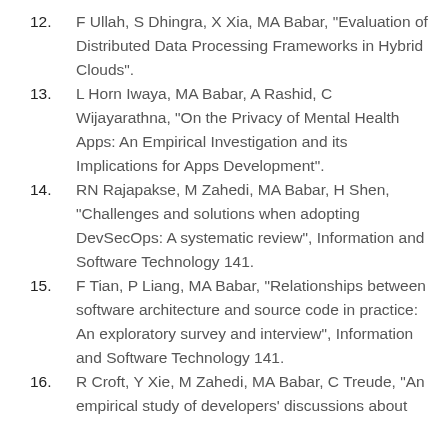12. F Ullah, S Dhingra, X Xia, MA Babar, "Evaluation of Distributed Data Processing Frameworks in Hybrid Clouds".
13. L Horn Iwaya, MA Babar, A Rashid, C Wijayarathna, "On the Privacy of Mental Health Apps: An Empirical Investigation and its Implications for Apps Development".
14. RN Rajapakse, M Zahedi, MA Babar, H Shen, "Challenges and solutions when adopting DevSecOps: A systematic review", Information and Software Technology 141.
15. F Tian, P Liang, MA Babar, "Relationships between software architecture and source code in practice: An exploratory survey and interview", Information and Software Technology 141.
16. R Croft, Y Xie, M Zahedi, MA Babar, C Treude, "An empirical study of developers' discussions about